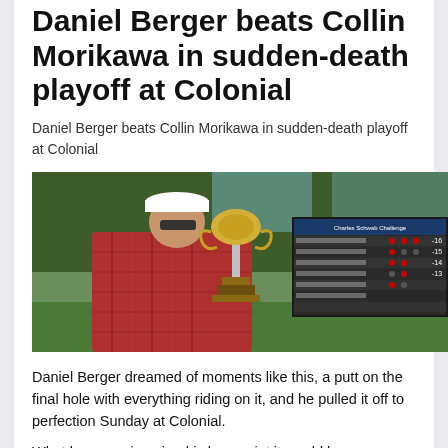Daniel Berger beats Collin Morikawa in sudden-death playoff at Colonial
Daniel Berger beats Collin Morikawa in sudden-death playoff at Colonial
[Figure (photo): Daniel Berger holding a large silver trophy, wearing a red plaid jacket and white cap, standing in front of a scoreboard reading 'Charles Schwab Challenge']
Daniel Berger dreamed of moments like this, a putt on the final hole with everything riding on it, and he pulled it off to perfection Sunday at Colonial.
What he never imagined is how quiet it would be.